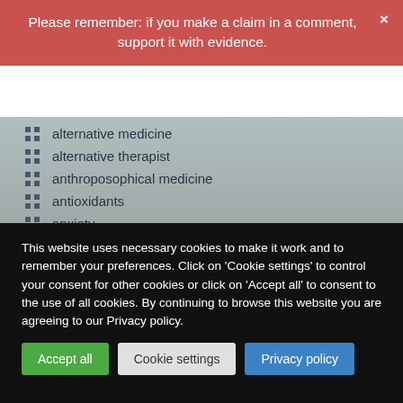Please remember: if you make a claim in a comment, support it with evidence.
alternative medicine
alternative therapist
anthroposophical medicine
antioxidants
anxiety
aromatherapy
Arthritis Research UK
asthma
Ayurvedic medicine
This website uses necessary cookies to make it work and to remember your preferences. Click on 'Cookie settings' to control your consent for other cookies or click on 'Accept all' to consent to the use of all cookies. By continuing to browse this website you are agreeing to our Privacy policy.